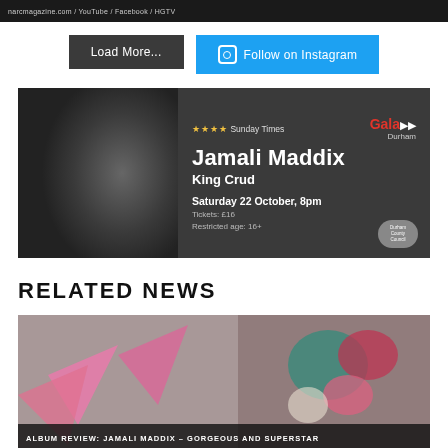narcmagazine.com / YouTube / Facebook / HGTV
Load More...
Follow on Instagram
[Figure (advertisement): Advertisement banner for Jamali Maddix - King Crud show at Gala Durham. Shows performer photo on left, text: ★★★★ Sunday Times, Gala Durham logo, Jamali Maddix, King Crud, Saturday 22 October 8pm, Tickets: £16, Restricted age: 16+, Durham County Council logo bottom right.]
RELATED NEWS
[Figure (photo): Photo showing a person with pink star shapes and colorful outfit, partially visible. Caption reads ALBUM REVIEW: JAMALI MADDIX - GORGEOUS AND SUPERSTAR]